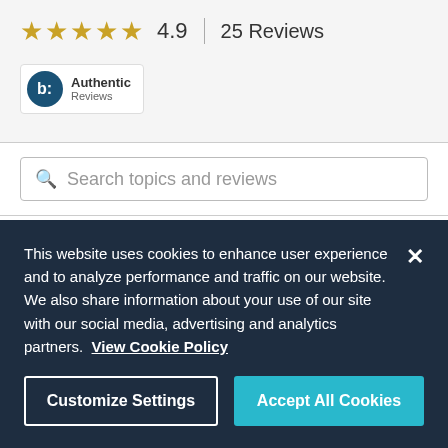★★★★★ 4.9 | 25 Reviews
[Figure (logo): Bazaarvoice Authentic Reviews badge logo]
Search topics and reviews
Reviews
Write a Review
This website uses cookies to enhance user experience and to analyze performance and traffic on our website. We also share information about your use of our site with our social media, advertising and analytics partners.  View Cookie Policy
Customize Settings
Accept All Cookies